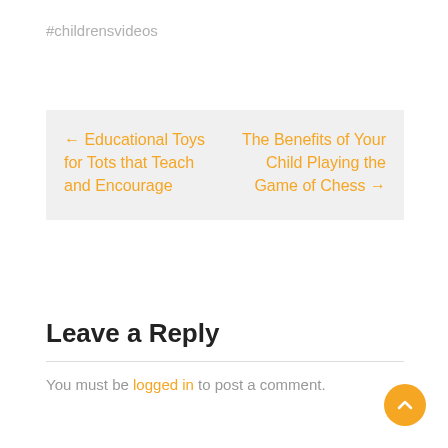#childrensvideos
← Educational Toys for Tots that Teach and Encourage
The Benefits of Your Child Playing the Game of Chess →
Leave a Reply
You must be logged in to post a comment.